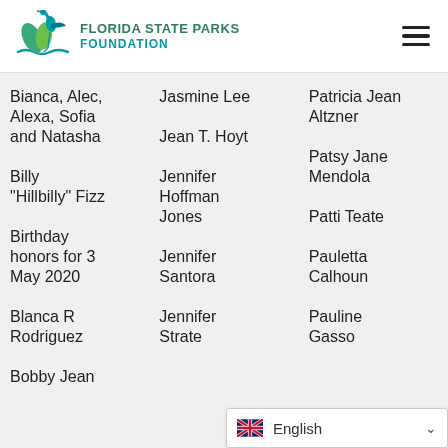FLORIDA STATE PARKS FOUNDATION
Bianca, Alec, Alexa, Sofia and Natasha
Billy "Hillbilly" Fizz
Birthday honors for 3 May 2020
Blanca R Rodriguez
Bobby Jean
Jasmine Lee
Jean T. Hoyt
Jennifer Hoffman Jones
Jennifer Santora
Jennifer Strate
Patricia Jean Altzner
Patsy Jane Mendola
Patti Teate
Pauletta Calhoun
Pauline Gasso